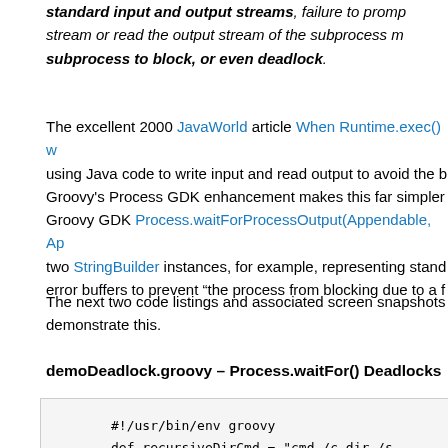standard input and output streams, failure to prompt stream or read the output stream of the subprocess m subprocess to block, or even deadlock.
The excellent 2000 JavaWorld article When Runtime.exec() w using Java code to write input and read output to avoid the b Groovy's Process GDK enhancement makes this far simpler Groovy GDK Process.waitForProcessOutput(Appendable, Ap two StringBuilder instances, for example, representing stand error buffers to prevent “the process from blocking due to a f
The next two code listings and associated screen snapshots demonstrate this.
demoDeadlock.groovy – Process.waitFor() Deadlocks
[Figure (screenshot): Code listing box showing Groovy code: #!/usr/bin/env groovy and def recursiveDirCmd = "cmd /c dir /s ${args[0]